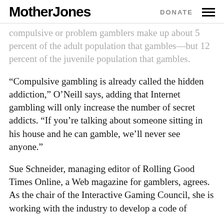Mother Jones   DONATE
compulsive or problem gamblers make up about 5 percent of the adult population that gambles—but 12 percent of the juvenile population that gambles.
“Compulsive gambling is already called the hidden addiction,” O’Neill says, adding that Internet gambling will only increase the number of secret addicts. “If you’re talking about someone sitting in his house and he can gamble, we’ll never see anyone.”
Sue Schneider, managing editor of Rolling Good Times Online, a Web magazine for gamblers, agrees. As the chair of the Interactive Gaming Council, she is working with the industry to develop a code of